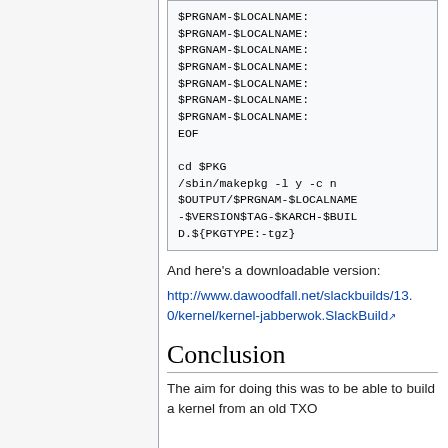$PRGNAM-$LOCALNAME:
$PRGNAM-$LOCALNAME:
$PRGNAM-$LOCALNAME:
$PRGNAM-$LOCALNAME:
$PRGNAM-$LOCALNAME:
$PRGNAM-$LOCALNAME:
$PRGNAM-$LOCALNAME:
EOF

cd $PKG
/sbin/makepkg -l y -c n $OUTPUT/$PRGNAM-$LOCALNAME-$VERSION$TAG-$KARCH-$BUILD.${PKGTYPE:-tgz}
And here's a downloadable version:
http://www.dawoodfall.net/slackbuilds/13.0/kernel/kernel-jabberwok.SlackBuild
Conclusion
The aim for doing this was to be able to build a kernel from an old TXO...